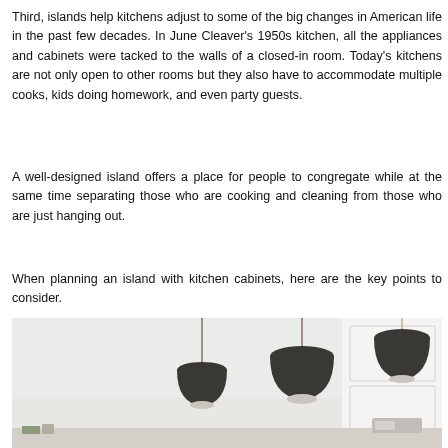Third, islands help kitchens adjust to some of the big changes in American life in the past few decades. In June Cleaver's 1950s kitchen, all the appliances and cabinets were tacked to the walls of a closed-in room. Today's kitchens are not only open to other rooms but they also have to accommodate multiple cooks, kids doing homework, and even party guests.
A well-designed island offers a place for people to congregate while at the same time separating those who are cooking and cleaning from those who are just hanging out.
When planning an island with kitchen cabinets, here are the key points to consider.
[Figure (photo): Kitchen interior photo showing three dark dome-shaped pendant lights hanging from gold/brass rods over a kitchen island, with white cabinetry visible in the background.]